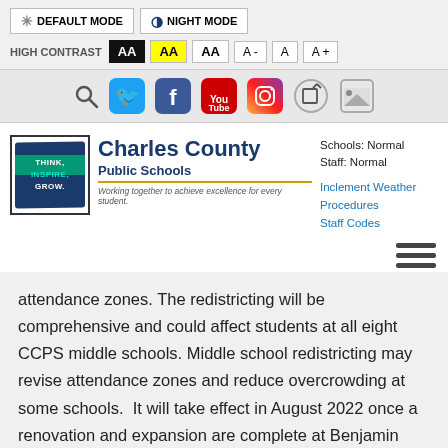DEFAULT MODE | NIGHT MODE | HIGH CONTRAST AA AA AA | A- A A+
[Figure (screenshot): Social media and utility icon row: search, Twitter, Facebook, YouTube, Instagram, edit, photo icons]
[Figure (logo): Charles County Public Schools logo with Think Inspire Grow text]
Schools: Normal
Staff: Normal
Inclement Weather Procedures
Staff Codes
attendance zones. The redistricting will be comprehensive and could affect students at all eight CCPS middle schools. Middle school redistricting may revise attendance zones and reduce overcrowding at some schools.  It will take effect in August 2022 once a renovation and expansion are complete at Benjamin Stoddert